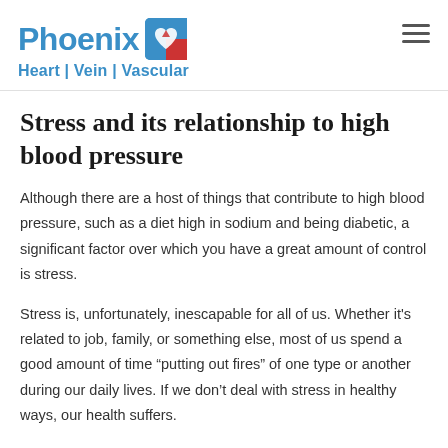Phoenix Heart | Vein | Vascular
Stress and its relationship to high blood pressure
Although there are a host of things that contribute to high blood pressure, such as a diet high in sodium and being diabetic, a significant factor over which you have a great amount of control is stress.
Stress is, unfortunately, inescapable for all of us. Whether it's related to job, family, or something else, most of us spend a good amount of time “putting out fires” of one type or another during our daily lives. If we don’t deal with stress in healthy ways, our health suffers.